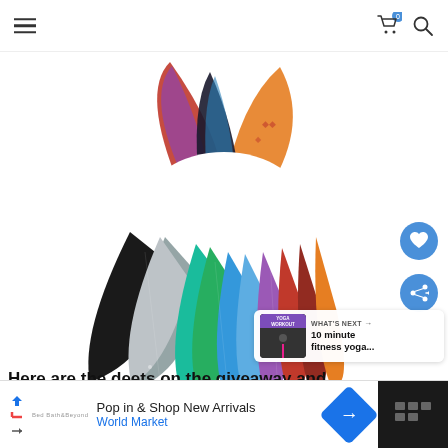Navigation header with hamburger menu, cart (0), and search icons
[Figure (photo): Fan arrangement of colorful yoga mats spread in a circular/fan pattern. Top portion shows printed/patterned mats (red with purple design, orange with decorative motifs). Bottom portion shows solid color mats fanned out: black, gray, teal, green, light blue, purple, red-brown, orange.]
[Figure (infographic): WHAT'S NEXT arrow with thumbnail of yoga workout video labeled '10 minute fitness yoga...' with YOGA WORKOUT badge]
Here are the deets on the giveaway and how to en
[Figure (screenshot): Advertisement banner: Pop in & Shop New Arrivals - World Market, with blue diamond navigation arrow icon and dark right panel with weather/app icon]